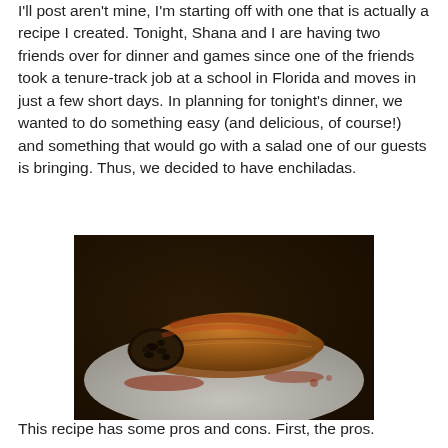I'll post aren't mine, I'm starting off with one that is actually a recipe I created. Tonight, Shana and I are having two friends over for dinner and games since one of the friends took a tenure-track job at a school in Florida and moves in just a few short days. In planning for tonight's dinner, we wanted to do something easy (and delicious, of course!) and something that would go with a salad one of our guests is bringing. Thus, we decided to have enchiladas.
[Figure (photo): A single enchilada on a white plate, filled with black beans and covered in reddish-brown sauce, photographed from above at an angle in low lighting.]
This recipe has some pros and cons. First, the pros.